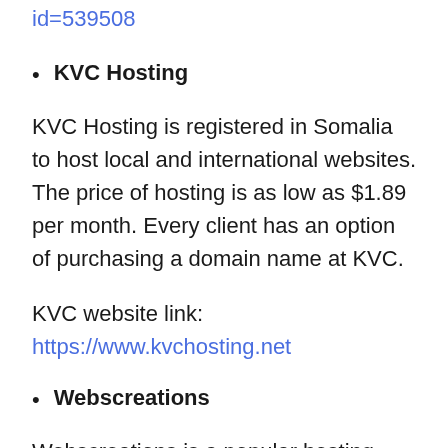id=539508
KVC Hosting
KVC Hosting is registered in Somalia to host local and international websites. The price of hosting is as low as $1.89 per month. Every client has an option of purchasing a domain name at KVC.
KVC website link: https://www.kvchosting.net
Webscreations
Webscreations is a popular hosting company